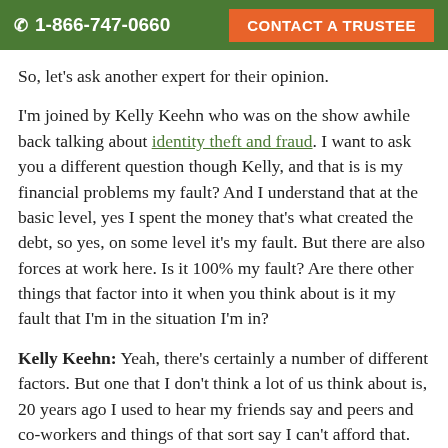☎ 1-866-747-0660   CONTACT A TRUSTEE
So, let's ask another expert for their opinion.
I'm joined by Kelly Keehn who was on the show awhile back talking about identity theft and fraud. I want to ask you a different question though Kelly, and that is is my financial problems my fault? And I understand that at the basic level, yes I spent the money that's what created the debt, so yes, on some level it's my fault. But there are also forces at work here. Is it 100% my fault? Are there other things that factor into it when you think about is it my fault that I'm in the situation I'm in?
Kelly Keehn: Yeah, there's certainly a number of different factors. But one that I don't think a lot of us think about is, 20 years ago I used to hear my friends say and peers and co-workers and things of that sort say I can't afford that.